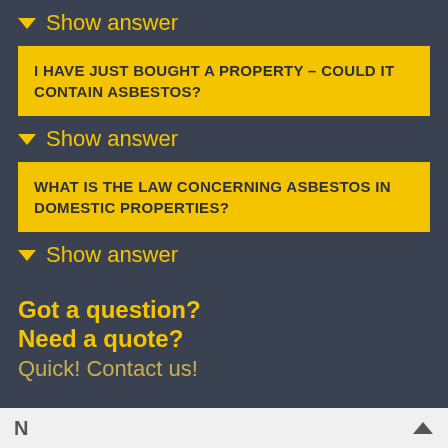✓ Show answer
I HAVE JUST BOUGHT A PROPERTY – COULD IT CONTAIN ASBESTOS?
✓ Show answer
WHAT IS THE LAW CONCERNING ASBESTOS IN DOMESTIC PROPERTIES?
✓ Show answer
Got a question?
Need a quote?
Quick! Contact us!